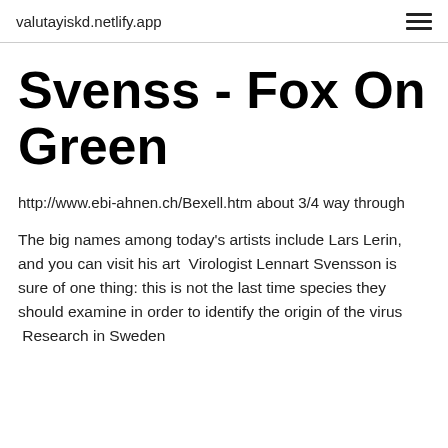valutayiskd.netlify.app
Svenss - Fox On Green
http://www.ebi-ahnen.ch/Bexell.htm about 3/4 way through
The big names among today's artists include Lars Lerin, and you can visit his art  Virologist Lennart Svensson is sure of one thing: this is not the last time species they should examine in order to identify the origin of the virus  Research in Sweden